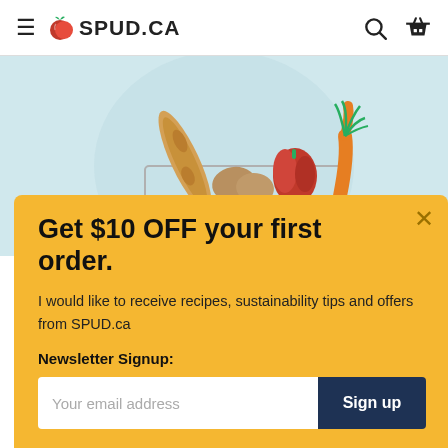SPUD.CA
[Figure (illustration): Illustration of groceries including bread, potatoes, a red pepper, and carrots in a shopping basket on a light blue background]
Get $10 OFF your first order.
I would like to receive recipes, sustainability tips and offers from SPUD.ca
Newsletter Signup:
Your email address
Sign up